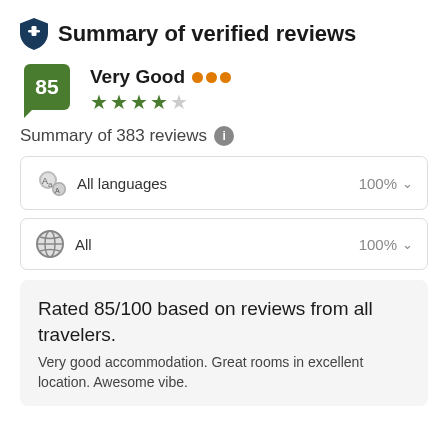Summary of verified reviews
85 Very Good ••• ★★★★☆
Summary of 383 reviews ℹ
All languages 100%
All 100%
Rated 85/100 based on reviews from all travelers. Very good accommodation. Great rooms in excellent location. Awesome vibe.